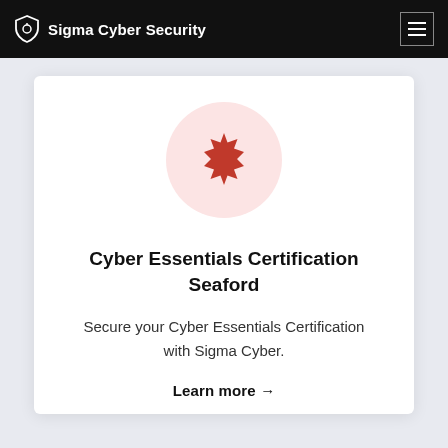Sigma Cyber Security
[Figure (logo): Red badge/seal icon on a pink circular background]
Cyber Essentials Certification Seaford
Secure your Cyber Essentials Certification with Sigma Cyber.
Learn more →